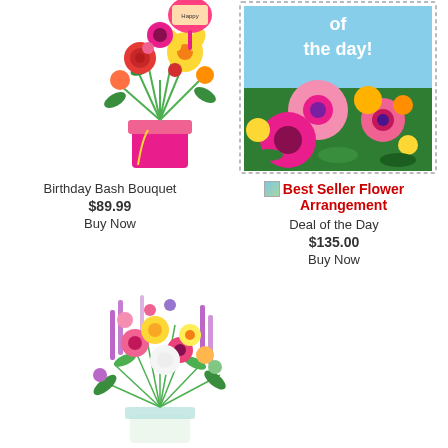[Figure (photo): Birthday Bash Bouquet - colorful flower arrangement with yellow lilies, red roses, and pink vase with balloon]
[Figure (photo): Deal of the Day flower arrangement - pink gerbera daisies and colorful flowers with blue sky background, stamp-style border]
Birthday Bash Bouquet
$89.99
Buy Now
Best Seller Flower Arrangement
Deal of the Day
$135.00
Buy Now
[Figure (photo): Large colorful mixed flower bouquet with pink, yellow, white and lavender flowers in a clear vase]